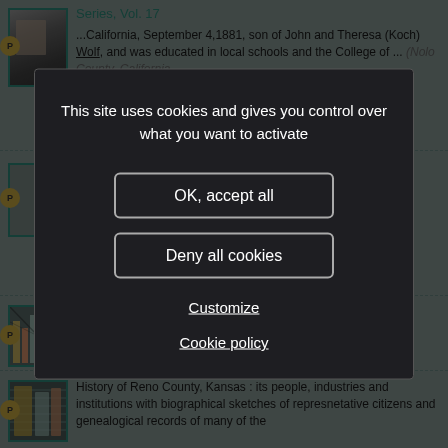[Figure (screenshot): Background webpage showing book search results with teal-colored entry icons and P badges, overlaid by a cookie consent modal dialog]
Series, Vol. 17
...California, September 4,1881, son of John and Theresa (Koch) Wolf, and was educated in local schools and the College of ...
This site uses cookies and gives you control over what you want to activate
OK, accept all
Deny all cookies
Customize
Cookie policy
History of Reno County, Kansas : its people, industries and institutions with biographical sketches of represnetative citizens and genealogical records of many of the